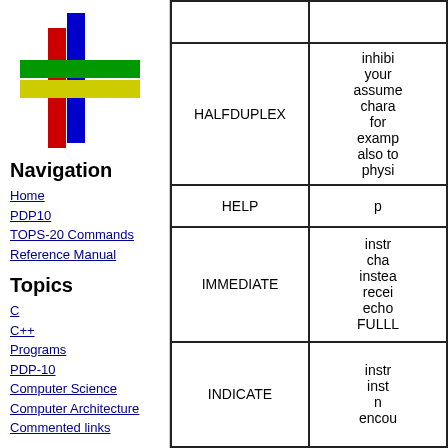[Figure (logo): Colored cross/hash logo with red, blue, green, and yellow bars]
Navigation
Home
PDP10
TOPS-20 Commands Reference Manual
Topics
C
C++
Programs
PDP-10
Computer Science
Computer Architecture
Commented links
| Command | Description |
| --- | --- |
|  |  |
| HALFDUPLEX | inhibi... your... assumes... chara... for... examp... also to... physi... |
| HELP | p... |
| IMMEDIATE | instr... cha... instea... recei... echo... FULLL... |
| INDICATE | instr... inst... n... encoun... |